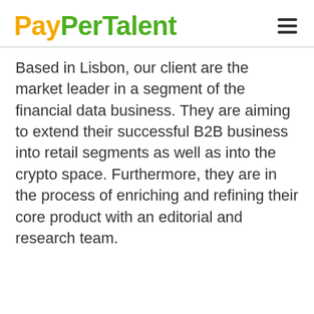PayPerTalent
Based in Lisbon, our client are the market leader in a segment of the financial data business. They are aiming to extend their successful B2B business into retail segments as well as into the crypto space. Furthermore, they are in the process of enriching and refining their core product with an editorial and research team.